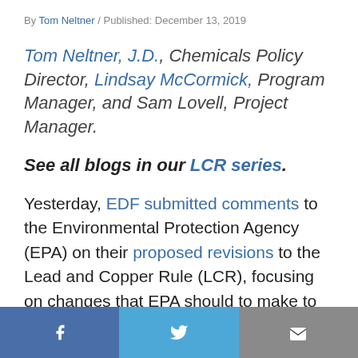By Tom Neltner / Published: December 13, 2019
Tom Neltner, J.D., Chemicals Policy Director, Lindsay McCormick, Program Manager, and Sam Lovell, Project Manager.
See all blogs in our LCR series.
Yesterday, EDF submitted comments to the Environmental Protection Agency (EPA) on their proposed revisions to the Lead and Copper Rule (LCR), focusing on changes that EPA should to make to the:
[Figure (other): Social media sharing bar with Facebook, Twitter, and email buttons]